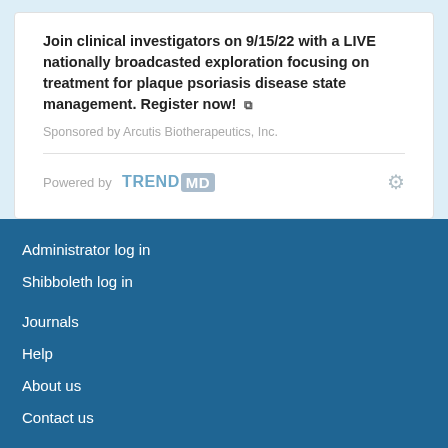Join clinical investigators on 9/15/22 with a LIVE nationally broadcasted exploration focusing on treatment for plaque psoriasis disease state management. Register now! [external link icon]
Sponsored by Arcutis Biotherapeutics, Inc.
[Figure (logo): Powered by TRENDMD logo with gear icon]
Administrator log in
Shibboleth log in
Journals
Help
About us
Contact us